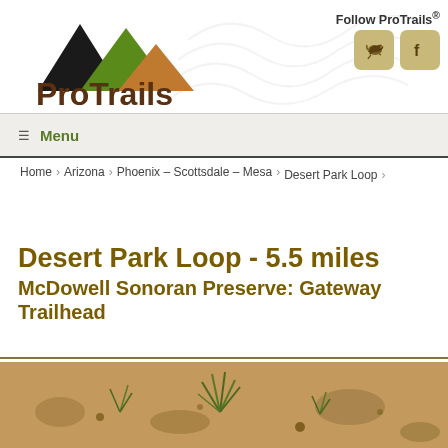[Figure (logo): ProTrails logo with mountain peak shapes in black, green, and orange/brown colors, with 'ProTrails' text in dark brown]
Follow ProTrails®
[Figure (other): Social media buttons: Twitter bird icon and Facebook 'f' icon, both on tan/gold rounded square backgrounds]
☰ Menu
Home > Arizona > Phoenix - Scottsdale - Mesa > Desert Park Loop
Desert Park Loop - 5.5 miles
McDowell Sonoran Preserve: Gateway Trailhead
[Figure (photo): Desert ground photo showing sandy/rocky soil with small sparse desert plant/grass]